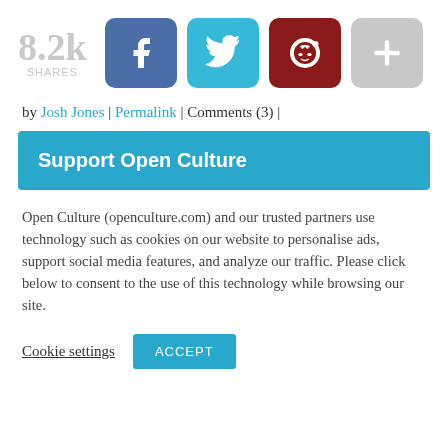[Figure (infographic): Social share count showing 8.2k shares, with Facebook, Twitter, Reddit, and more buttons]
by Josh Jones | Permalink | Comments (3) |
Support Open Culture
Open Culture (openculture.com) and our trusted partners use technology such as cookies on our website to personalise ads, support social media features, and analyze our traffic. Please click below to consent to the use of this technology while browsing our site.
Cookie settings  ACCEPT